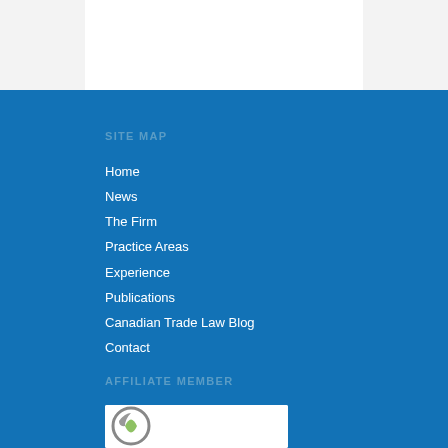SITE MAP
Home
News
The Firm
Practice Areas
Experience
Publications
Canadian Trade Law Blog
Contact
AFFILIATE MEMBER
[Figure (logo): Affiliate member organization logo with circular design element in grey and green]